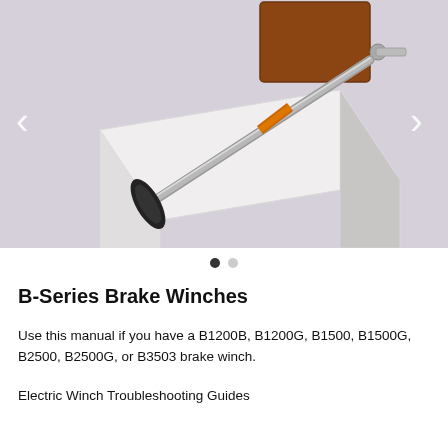[Figure (photo): A B-Series brake winch product photo showing a manual hand-crank winch with a metal handle (black grip at bottom), a steel shaft with an orange label stripe, and a brown/rust-colored rectangular brake housing mounted on a white block on a light gray background. Navigation arrows (< and >) are visible on the left and right sides of the image slider.]
B-Series Brake Winches
Use this manual if you have a B1200B, B1200G, B1500, B1500G, B2500, B2500G, or B3503 brake winch.
Electric Winch Troubleshooting Guides